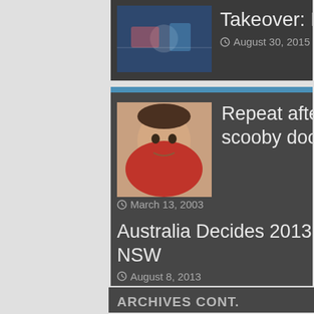Takeover: Brooklyn Results Round Up
August 30, 2015
Repeat after me, its a scooby doobie scooby doobie melody…sing along with me
March 13, 2003
Australia Decides 2013: Kevin Rudd visits a school in NSW
August 8, 2013
ARCHIVES CONT.
The FAT Website Show – Growing Up In Brunei
September 12, 2009
Me again
January 8, 2004
World Cup 2010: